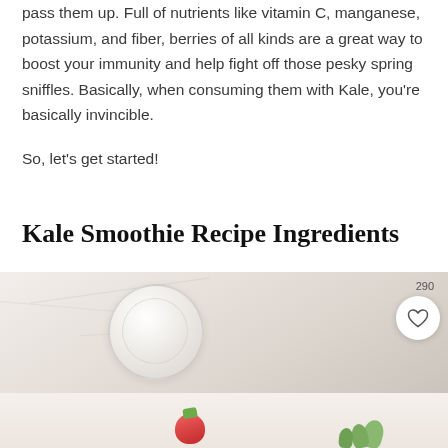pass them up. Full of nutrients like vitamin C, manganese, potassium, and fiber, berries of all kinds are a great way to boost your immunity and help fight off those pesky spring sniffles. Basically, when consuming them with Kale, you're basically invincible.
So, let's get started!
Kale Smoothie Recipe Ingredients
[Figure (photo): Photo of a kale smoothie in a glass jar with a strawberry and greens visible, shown from above on a light marble surface. A heart/save button with count 290 is overlaid on the image.]